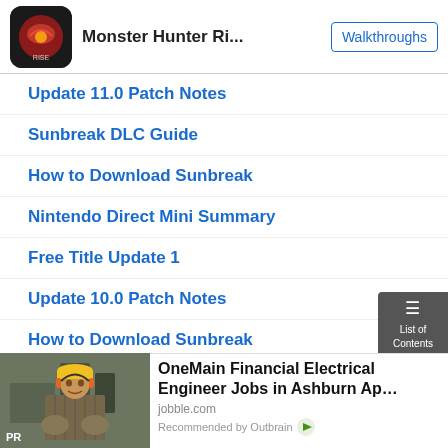Monster Hunter Ri... | Walkthroughs
Update 11.0 Patch Notes
Sunbreak DLC Guide
How to Download Sunbreak
Nintendo Direct Mini Summary
Free Title Update 1
Update 10.0 Patch Notes
How to Download Sunbreak
[Figure (screenshot): List of Contents button overlay on right side]
[Figure (photo): Worker in hard hat and safety gear, PR label]
OneMain Financial Electrical Engineer Jobs in Ashburn Ap…
jobble.com
Recommended by Outbrain